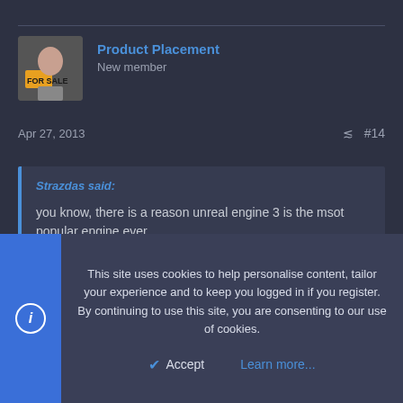Product Placement
New member
Apr 27, 2013   #14
Strazdas said:
you know, there is a reason unreal engine 3 is the msot popular engine ever.
And who's arguing that it isn't? All I said is that Dust uses the Unreal engine and that may make it more difficult for CCP to introduce communal meeting places for the two gaming groups, since they use separate
This site uses cookies to help personalise content, tailor your experience and to keep you logged in if you register.
By continuing to use this site, you are consenting to our use of cookies.
Accept   Learn more...